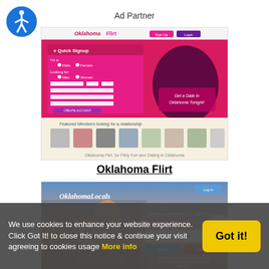[Figure (logo): Accessibility icon - blue circle with white person figure]
Ad Partner
[Figure (screenshot): Oklahoma Flirt dating website screenshot showing Quick Signup form with pink/magenta background and silhouette of couple, plus featured members section below]
Oklahoma Flirt
[Figure (screenshot): Oklahoma Locals dating website screenshot showing couple at sunset with Browse Profiles in Oklahoma signup form and I Am / Male / Female selection]
We use cookies to enhance your website experience. Click Got It! to close this notice & continue your visit agreeing to cookies usage More info